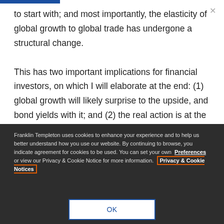to start with; and most importantly, the elasticity of global growth to global trade has undergone a structural change.

This has two important implications for financial investors, on which I will elaborate at the end: (1) global growth will likely surprise to the upside, and bond yields with it; and (2) the real action is at the company, industry and country-specific level, making portfolio selection more important
Franklin Templeton uses cookies to enhance your experience and to help us better understand how you use our website. By continuing to browse, you indicate agreement for cookies to be used. You can set your own Preferences or view our Privacy & Cookie Notice for more information. Privacy & Cookie Notices